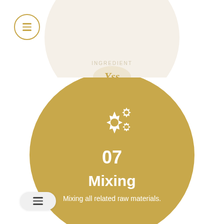[Figure (logo): YSS Crafted by Heart logo inside a beige circle at the top of the page, with a circular menu hamburger icon on the top left]
[Figure (infographic): Large gold circle with gear icons, step number 07, title 'Mixing', and description 'Mixing all related raw materials.']
[Figure (infographic): Partially visible gold circle at the bottom of the page, with a hamburger menu button in the bottom left corner]